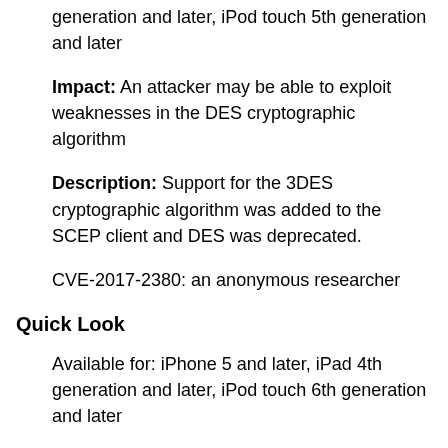generation and later, iPod touch 5th generation and later
Impact: An attacker may be able to exploit weaknesses in the DES cryptographic algorithm
Description: Support for the 3DES cryptographic algorithm was added to the SCEP client and DES was deprecated.
CVE-2017-2380: an anonymous researcher
Quick Look
Available for: iPhone 5 and later, iPad 4th generation and later, iPod touch 6th generation and later
Impact: Tapping a tel link in a PDF document could trigger a call without prompting the user